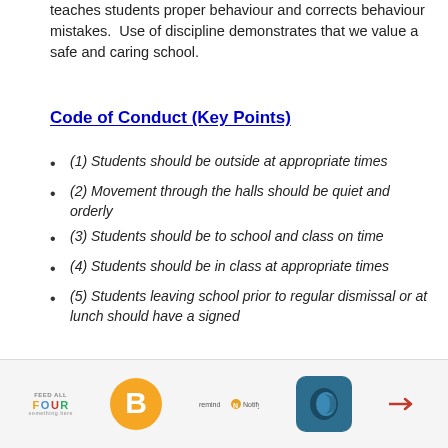teaches students proper behaviour and corrects behaviour mistakes.  Use of discipline demonstrates that we value a safe and caring school.
Code of Conduct (Key Points)
(1) Students should be outside at appropriate times
(2) Movement through the halls should be quiet and orderly
(3) Students should be to school and class on time
(4) Students should be in class at appropriate times
(5) Students leaving school prior to regular dismissal or at lunch should have a signed
Feed All Four | B logo | Remind/Notify | C logo | arrow logo